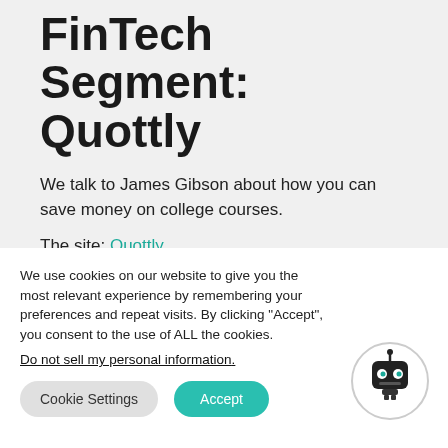FinTech Segment: Quottly
We talk to James Gibson about how you can save money on college courses.
The site: Quottly
We use cookies on our website to give you the most relevant experience by remembering your preferences and repeat visits. By clicking “Accept”, you consent to the use of ALL the cookies.
Do not sell my personal information.
Cookie Settings  Accept